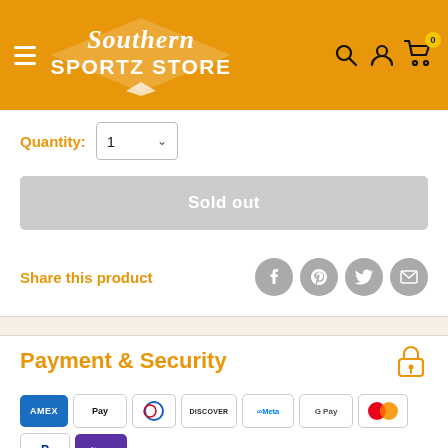Southern Sportz Store
Quantity: 1
Sold out
Share this product
Payment & Security
[Figure (logo): Payment method logos: Amex, Apple Pay, Diners Club, Discover, Meta Pay, Google Pay, Mastercard, PayPal, Shop Pay, Venmo, Visa, Afterpay]